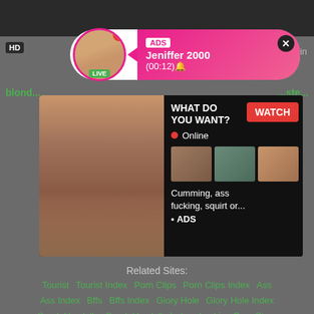[Figure (screenshot): Adult website screenshot with notification popup showing 'ADS Jeniffer 2000 (00:12)' with LIVE avatar, and an adult ad banner with 'WHAT DO YOU WANT? WATCH' button, Online indicator, thumbnails, and text 'Cumming, ass fucking, squirt or... ADS']
Related Sites:
Tourist  Tourist Index  Porn Clips  Porn Clips Index  Ass  Ass Index  Bffs  Bffs Index  Glory Hole  Glory Hole Index  Sarah Vandella  Sarah Vandella Index  Lesbian Porn Stars  Lesbian Porn Stars Index  Nylons  Nylons Index  Oil  Oil Index  Ebony  Ebony Index